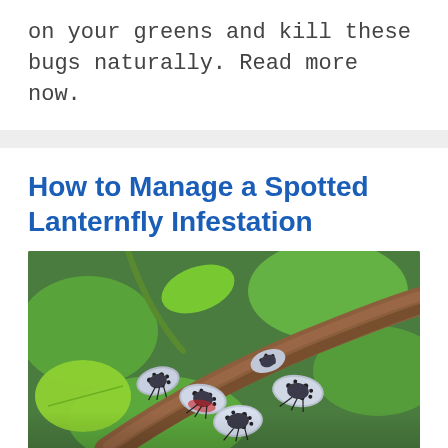on your greens and kill these bugs naturally. Read more now.
How to Manage a Spotted Lanternfly Infestation
[Figure (photo): Close-up photograph of multiple spotted lanternflies clustered on a plant branch, with green leaves visible in the background. The insects have grey wings with black spots.]